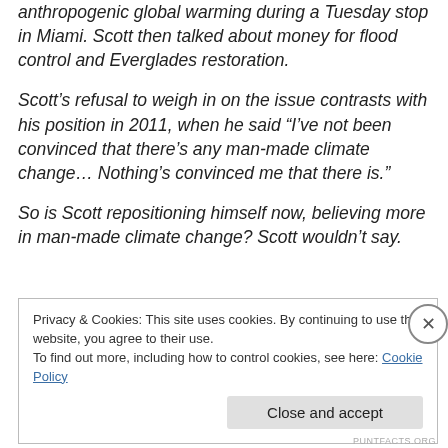anthropogenic global warming during a Tuesday stop in Miami. Scott then talked about money for flood control and Everglades restoration.
Scott’s refusal to weigh in on the issue contrasts with his position in 2011, when he said “I’ve not been convinced that there’s any man-made climate change… Nothing’s convinced me that there is.”
So is Scott repositioning himself now, believing more in man-made climate change? Scott wouldn’t say.
Privacy & Cookies: This site uses cookies. By continuing to use this website, you agree to their use.
To find out more, including how to control cookies, see here: Cookie Policy
Close and accept
PUNTFACTS.ORG